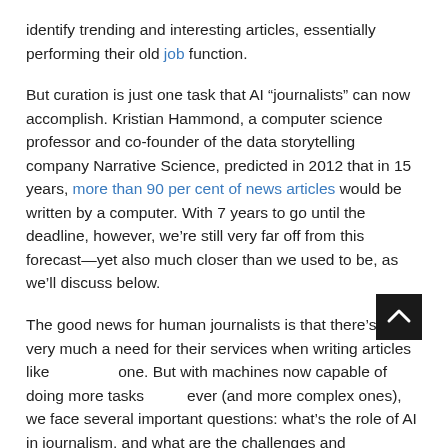identify trending and interesting articles, essentially performing their old job function.
But curation is just one task that AI "journalists" can now accomplish. Kristian Hammond, a computer science professor and co-founder of the data storytelling company Narrative Science, predicted in 2012 that in 15 years, more than 90 per cent of news articles would be written by a computer. With 7 years to go until the deadline, however, we’re still very far off from this forecast—yet also much closer than we used to be, as we’ll discuss below.
The good news for human journalists is that there’s still very much a need for their services when writing articles like one. But with machines now capable of doing more tasks than ever (and more complex ones), we face several important questions: what’s the role of AI in journalism, and what are the challenges and considerations when bringing AI into the newsroom?